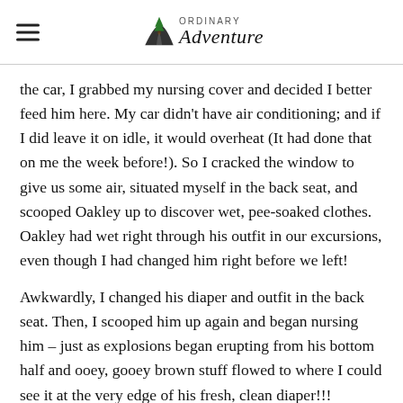Ordinary Adventure
the car, I grabbed my nursing cover and decided I better feed him here. My car didn’t have air conditioning; and if I did leave it on idle, it would overheat (It had done that on me the week before!). So I cracked the window to give us some air, situated myself in the back seat, and scooped Oakley up to discover wet, pee-soaked clothes. Oakley had wet right through his outfit in our excursions, even though I had changed him right before we left!
Awkwardly, I changed his diaper and outfit in the back seat. Then, I scooped him up again and began nursing him – just as explosions began erupting from his bottom half and ooey, gooey brown stuff flowed to where I could see it at the very edge of his fresh, clean diaper!!!
I was a hot mess, phone dead, feeling like a wreck, hoping